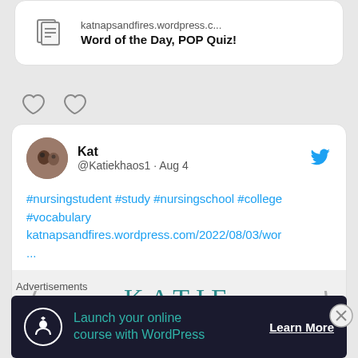[Figure (screenshot): Link preview card with document icon, URL katnapsandfires.wordpress.c... and title Word of the Day, POP Quiz!]
katnapsandfires.wordpress.c...
Word of the Day, POP Quiz!
[Figure (infographic): Comment and like/heart icons row]
[Figure (screenshot): Tweet card from Kat @Katiekhaos1 Aug 4 with hashtags and link, showing KATIE blog preview]
#nursingstudent #study #nursingschool #college #vocabulary katnapsandfires.wordpress.com/2022/08/03/wor ...
Advertisements
[Figure (infographic): Advertisement banner: Launch your online course with WordPress — Learn More]